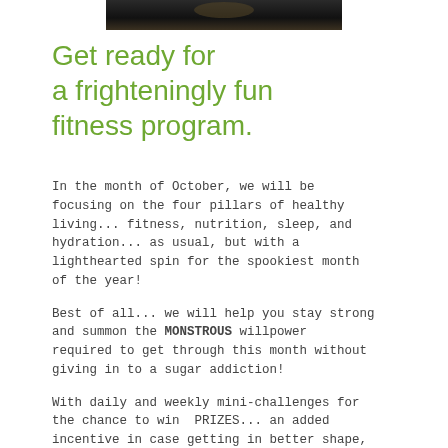[Figure (photo): Dark image strip at the top of the page]
Get ready for a frighteningly fun fitness program.
In the month of October, we will be focusing on the four pillars of healthy living... fitness, nutrition, sleep, and hydration... as usual, but with a lighthearted spin for the spookiest month of the year!
Best of all... we will help you stay strong and summon the MONSTROUS willpower required to get through this month without giving in to a sugar addiction!
With daily and weekly mini-challenges for the chance to win  PRIZES... an added incentive in case getting in better shape, improving your health, and feeling more energetic is not incentive enough!